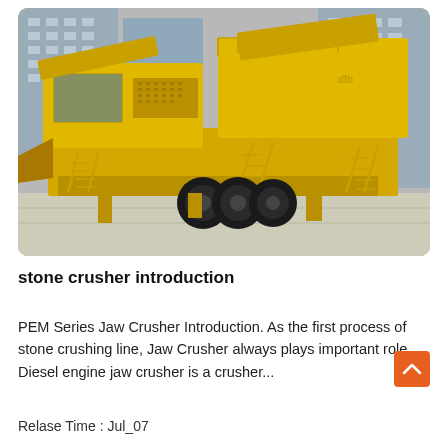[Figure (photo): Large yellow mobile jaw crusher / stone crushing plant on wheels, parked on a concrete surface in front of multi-story buildings. The machine is bright yellow with ladders, railings, conveyor belts, and multiple axle wheels.]
stone crusher introduction
PEM Series Jaw Crusher Introduction. As the first process of stone crushing line, Jaw Crusher always plays important role. Diesel engine jaw crusher is a crusher...
Relase Time : Jul_07